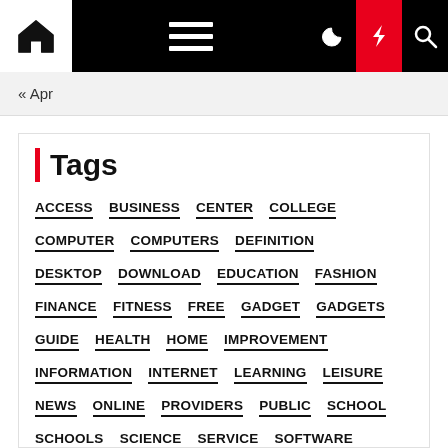[Figure (screenshot): Website navigation bar with home icon, hamburger menu, moon/dark-mode icon, red lightning bolt icon, and search icon]
« Apr
Tags
ACCESS
BUSINESS
CENTER
COLLEGE
COMPUTER
COMPUTERS
DEFINITION
DESKTOP
DOWNLOAD
EDUCATION
FASHION
FINANCE
FITNESS
FREE
GADGET
GADGETS
GUIDE
HEALTH
HOME
IMPROVEMENT
INFORMATION
INTERNET
LEARNING
LEISURE
NEWS
ONLINE
PROVIDERS
PUBLIC
SCHOOL
SCHOOLS
SCIENCE
SERVICE
SOFTWARE
STATE
STUDENTS
TEACHERS
TECH
TECHNOLOGY